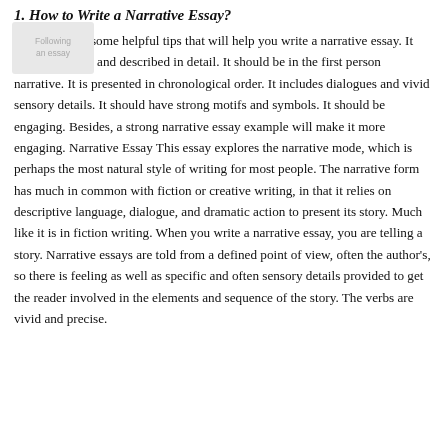1. How to Write a Narrative Essay?
Following are some helpful tips that will help you write a narrative essay. It should be clear and described in detail. It should be in the first person narrative. It is presented in chronological order. It includes dialogues and vivid sensory details. It should have strong motifs and symbols. It should be engaging. Besides, a strong narrative essay example will make it more engaging. Narrative Essay This essay explores the narrative mode, which is perhaps the most natural style of writing for most people. The narrative form has much in common with fiction or creative writing, in that it relies on descriptive language, dialogue, and dramatic action to present its story. Much like it is in fiction writing. When you write a narrative essay, you are telling a story. Narrative essays are told from a defined point of view, often the author's, so there is feeling as well as specific and often sensory details provided to get the reader involved in the elements and sequence of the story. The verbs are vivid and precise.